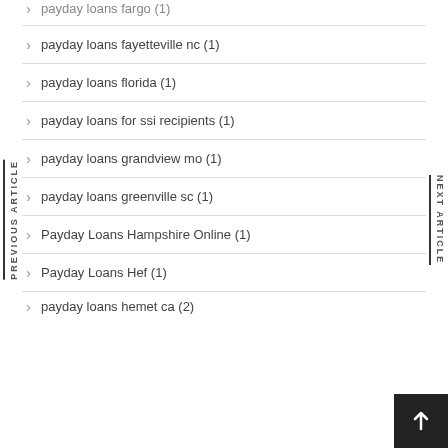payday loans fargo (1)
payday loans fayetteville nc (1)
payday loans florida (1)
payday loans for ssi recipients (1)
payday loans grandview mo (1)
payday loans greenville sc (1)
Payday Loans Hampshire Online (1)
Payday Loans Hef (1)
payday loans hemet ca (2)